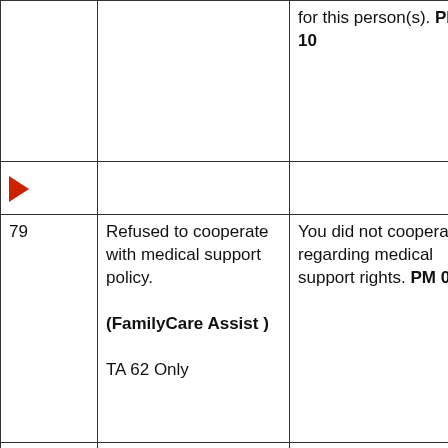| Code | Reason | Notice Text |
| --- | --- | --- |
|  |  | for this person(s). PM 06-10 |
| → |  |  |
| 79 | Refused to cooperate with medical support policy.

(FamilyCare Assist )

TA 62 Only | You did not cooperate regarding medical support rights. PM 03-19 |
| 88
(Person Only) | 2nd adult ineligible.

(All except S/P) | You are not the caretaker relative, parent of an eligible child, or spouse of the caretaker |